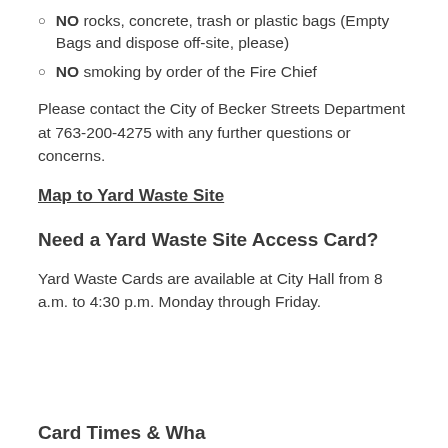NO rocks, concrete, trash or plastic bags (Empty Bags and dispose off-site, please)
NO smoking by order of the Fire Chief
Please contact the City of Becker Streets Department at 763-200-4275 with any further questions or concerns.
Map to Yard Waste Site
Need a Yard Waste Site Access Card?
Yard Waste Cards are available at City Hall from 8 a.m. to 4:30 p.m. Monday through Friday.
Card Times & What...